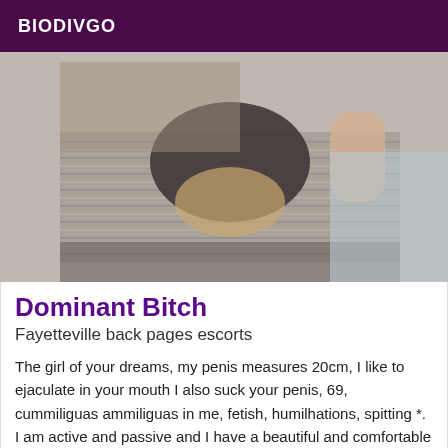BIODIVGO
[Figure (photo): Close-up photo of a foot wearing fishnet stockings on a striped surface]
Dominant Bitch
Fayetteville back pages escorts
The girl of your dreams, my penis measures 20cm, I like to ejaculate in your mouth I also suck your penis, 69, cummiliguas ammiliguas in me, fetish, humilhations, spitting *. I am active and passive and I have a beautiful and comfortable place to meet you.